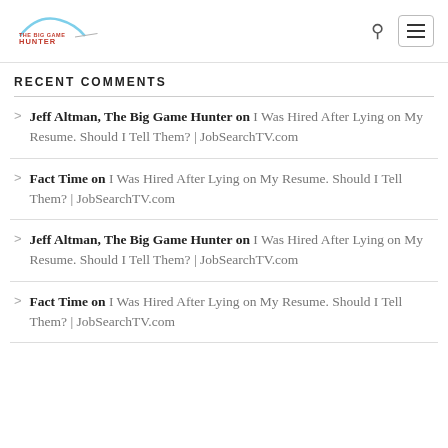The Big Game Hunter
RECENT COMMENTS
Jeff Altman, The Big Game Hunter on I Was Hired After Lying on My Resume. Should I Tell Them? | JobSearchTV.com
Fact Time on I Was Hired After Lying on My Resume. Should I Tell Them? | JobSearchTV.com
Jeff Altman, The Big Game Hunter on I Was Hired After Lying on My Resume. Should I Tell Them? | JobSearchTV.com
Fact Time on I Was Hired After Lying on My Resume. Should I Tell Them? | JobSearchTV.com